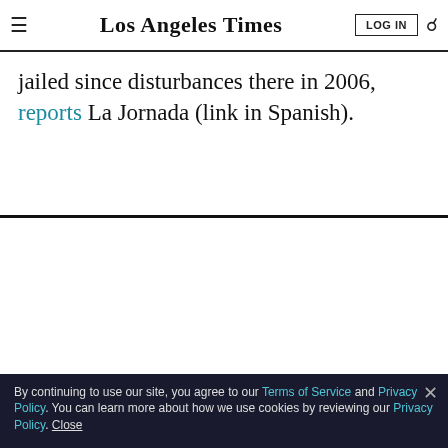Los Angeles Times
jailed since disturbances there in 2006, reports La Jornada (link in Spanish).
LIMITED-TIME OFFER
$1 for 6 Months
SUBSCRIBE NOW
By continuing to use our site, you agree to our Terms of Service and Privacy Policy. You can learn more about how we use cookies by reviewing our Privacy Policy. Close